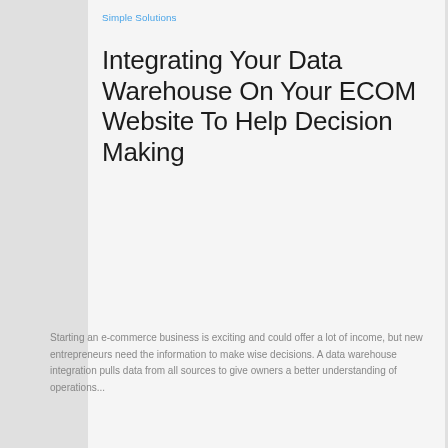Simple Solutions
Integrating Your Data Warehouse On Your ECOM Website To Help Decision Making
Starting an e-commerce business is exciting and could offer a lot of income, but new entrepreneurs need the information to make wise decisions. A data warehouse integration pulls data from all sources to give owners a better understanding of operations...
READ MORE →
Simple Solutions